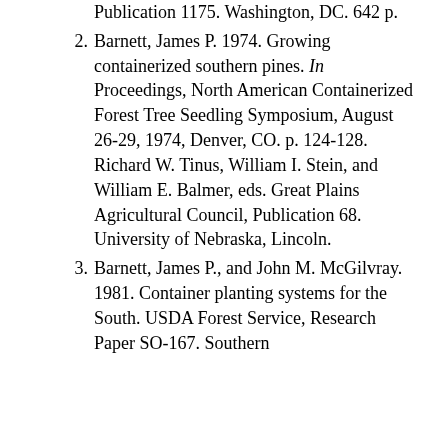Publication 1175. Washington, DC. 642 p.
Barnett, James P. 1974. Growing containerized southern pines. In Proceedings, North American Containerized Forest Tree Seedling Symposium, August 26-29, 1974, Denver, CO. p. 124-128. Richard W. Tinus, William I. Stein, and William E. Balmer, eds. Great Plains Agricultural Council, Publication 68. University of Nebraska, Lincoln.
Barnett, James P., and John M. McGilvray. 1981. Container planting systems for the South. USDA Forest Service, Research Paper SO-167. Southern